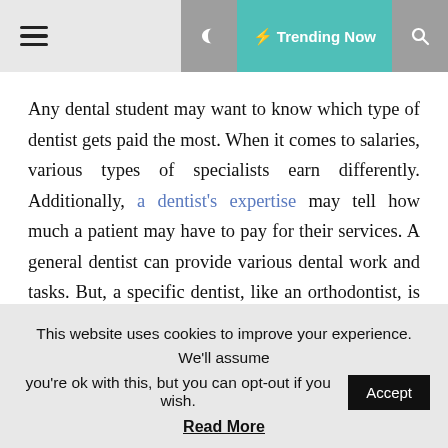☰  ☾  ⚡ Trending Now  🔍
Any dental student may want to know which type of dentist gets paid the most. When it comes to salaries, various types of specialists earn differently. Additionally, a dentist's expertise may tell how much a patient may have to pay for their services. A general dentist can provide various dental work and tasks. But, a specific dentist, like an orthodontist, is the only one to administer dentures and braces. Other specializations like pediatric oral healthcare, hygienists, and laboratory technicians may also have other factors for their money payment. Get to know these essential figures in dental care to prepare for your desired path.
This website uses cookies to improve your experience. We'll assume you're ok with this, but you can opt-out if you wish.
Read More